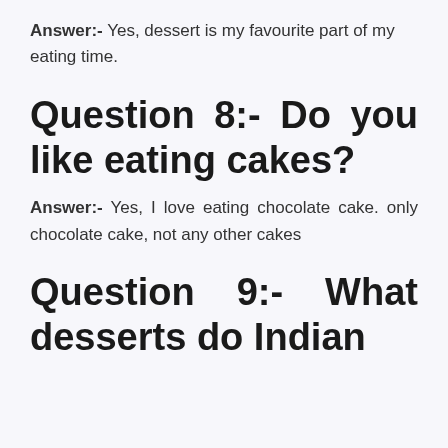Answer:- Yes, dessert is my favourite part of my eating time.
Question 8:- Do you like eating cakes?
Answer:- Yes, I love eating chocolate cake. only chocolate cake, not any other cakes
Question 9:- What desserts do Indian people like?